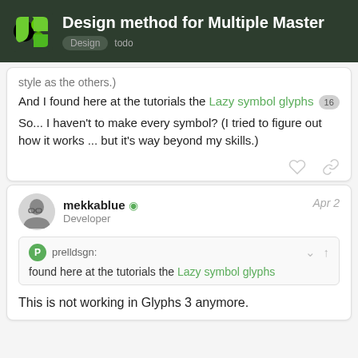Design method for Multiple Master — Design todo
style as the others.)
And I found here at the tutorials the Lazy symbol glyphs 16
So... I haven't to make every symbol? (I tried to figure out how it works ... but it's way beyond my skills.)
mekkablue — Developer — Apr 2
prelldsgn: found here at the tutorials the Lazy symbol glyphs
This is not working in Glyphs 3 anymore.